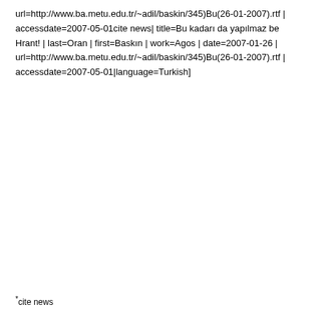url=http://www.ba.metu.edu.tr/~adil/baskin/345)Bu(26-01-2007).rtf | accessdate=2007-05-01cite news| title=Bu kadarı da yapılmaz be Hrant! | last=Oran | first=Baskın | work=Agos | date=2007-01-26 | url=http://www.ba.metu.edu.tr/~adil/baskin/345)Bu(26-01-2007).rtf | accessdate=2007-05-01|language=Turkish]
*cite news